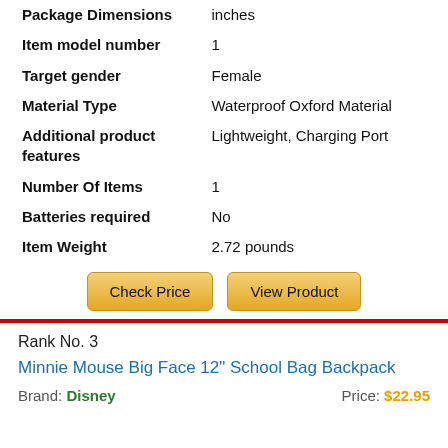| Attribute | Value |
| --- | --- |
| Package Dimensions | inches |
| Item model number | 1 |
| Target gender | Female |
| Material Type | Waterproof Oxford Material |
| Additional product features | Lightweight, Charging Port |
| Number Of Items | 1 |
| Batteries required | No |
| Item Weight | 2.72 pounds |
Check Price | View Product
Rank No. 3
Minnie Mouse Big Face 12" School Bag Backpack
Brand: Disney    Price: $22.95